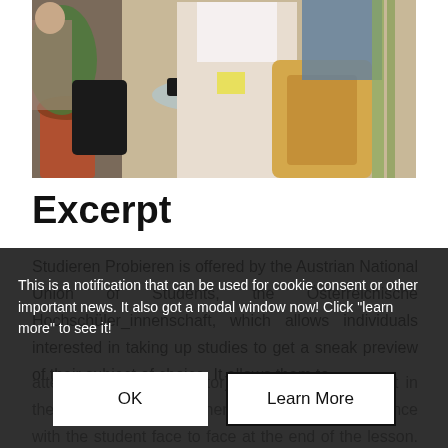[Figure (photo): Photo of people sitting in a casual setting, possibly a café or lounge area with wicker chairs, a glass table, a potted plant, and a person in a white top visible in the foreground.]
Excerpt
Studieren Probieren is offered by the Austrian National Union of Students, the Österreichische Hochschüler_innenschaft, which allows individuals interested in taking up studies to get a sneak preview of their subject of choice. It allows them to attend a lesson (as visitor) with a current student in the subject area, and then discuss their experience with the student face to face at the end of the lesson. The objective of the initiative is to give those interested in taking up studies an
This is a notification that can be used for cookie consent or other important news. It also got a modal window now! Click "learn more" to see it!